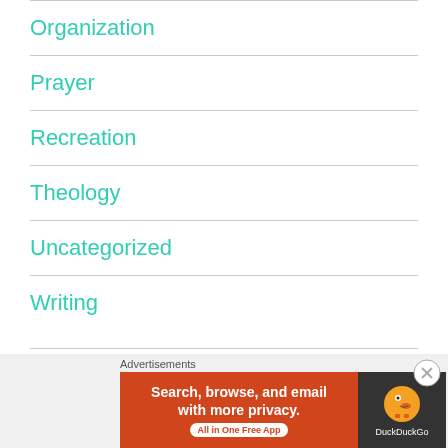Organization
Prayer
Recreation
Theology
Uncategorized
Writing
META
[Figure (screenshot): DuckDuckGo advertisement banner: orange section with text 'Search, browse, and email with more privacy.' and 'All in One Free App' badge, dark section with DuckDuckGo logo and duck icon]